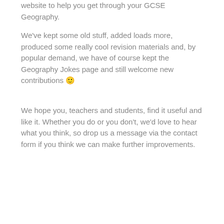website to help you get through your GCSE Geography.
We've kept some old stuff, added loads more, produced some really cool revision materials and, by popular demand, we have of course kept the Geography Jokes page and still welcome new contributions 🙂
We hope you, teachers and students, find it useful and like it. Whether you do or you don't, we'd love to hear what you think, so drop us a message via the contact form if you think we can make further improvements.